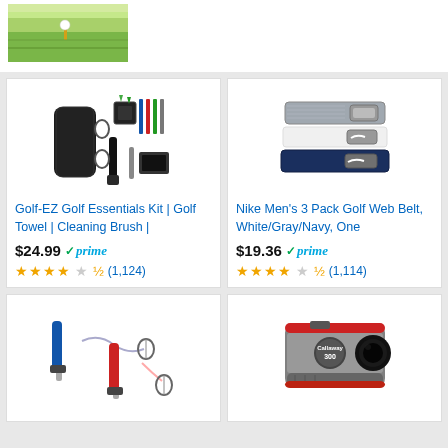[Figure (photo): Golf ball on tee over green grass background image at top of page]
[Figure (photo): Golf-EZ Golf Essentials Kit product image showing golf accessories including towel, cleaning brush, tools]
Golf-EZ Golf Essentials Kit | Golf Towel | Cleaning Brush |
$24.99 ✓prime
★★★★☆ (1,124)
[Figure (photo): Nike Men's 3 Pack Golf Web Belt White/Gray/Navy product image showing three belts]
Nike Men's 3 Pack Golf Web Belt, White/Gray/Navy, One
$19.36 ✓prime
★★★★☆ (1,114)
[Figure (photo): Golf club cleaning brush product with retractable cord and carabiner clip]
[Figure (photo): Callaway 300 Pro laser rangefinder product image]